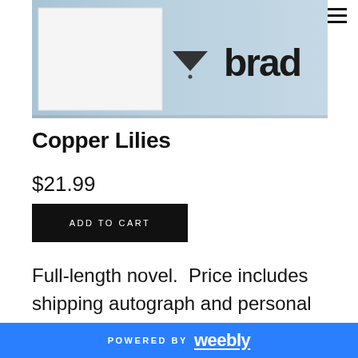[Figure (photo): Partial view of a book cover with light blue/steel background and text 'brad' partially visible on the right side, with a small triangular logo/symbol in the center]
Copper Lilies
$21.99
ADD TO CART
Full-length novel.  Price includes shipping autograph and personal
POWERED BY weebly